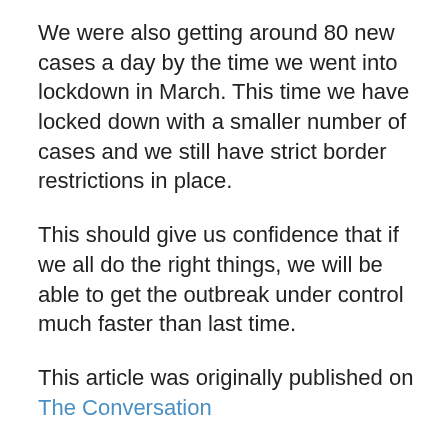We were also getting around 80 new cases a day by the time we went into lockdown in March. This time we have locked down with a smaller number of cases and we still have strict border restrictions in place.
This should give us confidence that if we all do the right things, we will be able to get the outbreak under control much faster than last time.
This article was originally published on The Conversation
Authors:
Professor Michael Plank, University of Canterbury
Associate Professor Alex James, University of Canterbury
Shaun Hendy, Professor of Physics University of Auckland